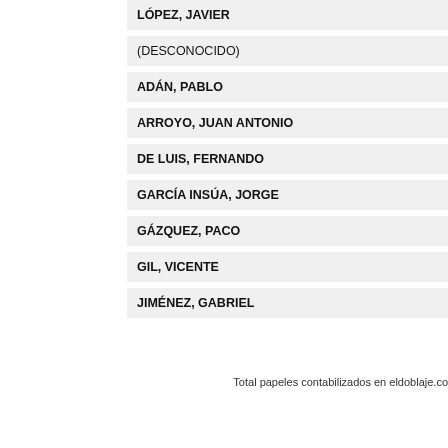LÓPEZ, JAVIER
(DESCONOCIDO)
ADÁN, PABLO
ARROYO, JUAN ANTONIO
DE LUIS, FERNANDO
GARCÍA INSÚA, JORGE
GÁZQUEZ, PACO
GIL, VICENTE
JIMÉNEZ, GABRIEL
Total papeles contabilizados en eldoblaje.co